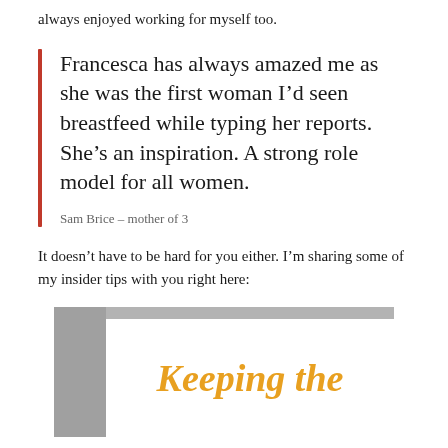always enjoyed working for myself too.
Francesca has always amazed me as she was the first woman I'd seen breastfeed while typing her reports. She's an inspiration. A strong role model for all women.
Sam Brice – mother of 3
It doesn't have to be hard for you either. I'm sharing some of my insider tips with you right here:
[Figure (illustration): A book or card cover showing the text 'Keeping the' in orange cursive script on a white background, placed against a grey background. The image is partially cut off at the bottom.]